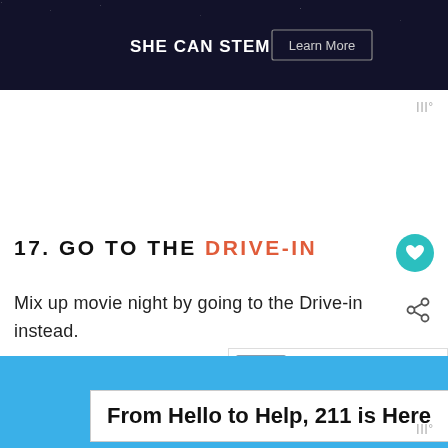[Figure (screenshot): Dark banner advertisement for 'SHE CAN STEM' with a 'Learn More' button on a dark navy/black background]
muut°
17. GO TO THE DRIVE-IN
Mix up movie night by going to the Drive-in instead.
[Figure (other): WHAT'S NEXT arrow widget showing a thumbnail image and text '7 Tips for getting bette...']
[Figure (screenshot): Bottom blue advertisement banner with white ad box containing text 'From Hello to Help, 211 is Here' with a close button]
muut°